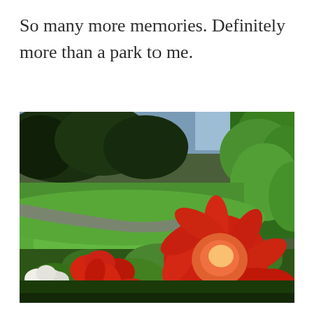So many more memories. Definitely more than a park to me.
[Figure (photo): Close-up photograph of red dahlia flowers in bloom in a park garden, with green lawn, trees, and blue sky visible in the background. Multiple red and white flowers are visible along a garden bed.]